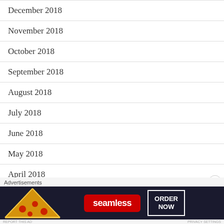December 2018
November 2018
October 2018
September 2018
August 2018
July 2018
June 2018
May 2018
April 2018
March 2018
[Figure (other): Seamless food delivery advertisement banner with pizza image, Seamless logo in red, and ORDER NOW button]
Advertisements